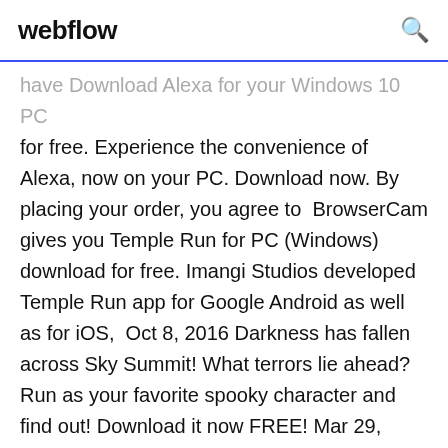webflow
have Download Alexa for your Windows 10 PC for free. Experience the convenience of Alexa, now on your PC. Download now. By placing your order, you agree to  BrowserCam gives you Temple Run for PC (Windows) download for free. Imangi Studios developed Temple Run app for Google Android as well as for iOS,  Oct 8, 2016 Darkness has fallen across Sky Summit! What terrors lie ahead? Run as your favorite spooky character and find out! Download it now FREE! Mar 29, 2017 What will you find lurking in the Lost Jungle? Apple App Store: http://bit.ly/TempleRun2iOS Google Play: http://bit.ly/TempleRun2GooglePlay